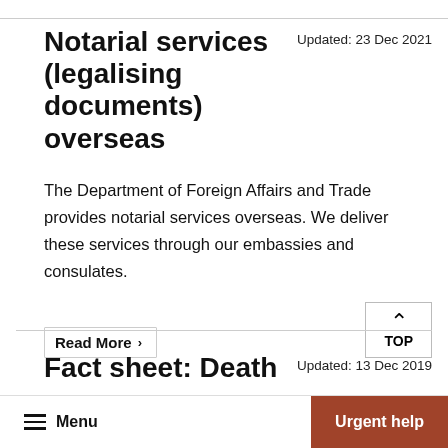Notarial services (legalising documents) overseas
Updated: 23 Dec 2021
The Department of Foreign Affairs and Trade provides notarial services overseas. We deliver these services through our embassies and consulates.
Read More >
Fact sheet: Death
Updated: 13 Dec 2019
Menu | Urgent help